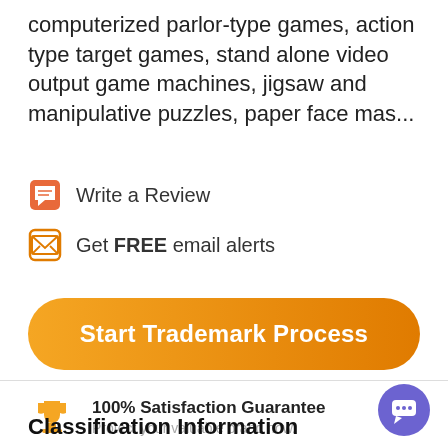computerized parlor-type games, action type target games, stand alone video output game machines, jigsaw and manipulative puzzles, paper face mas...
Write a Review
Get FREE email alerts
Start Trademark Process
100% Satisfaction Guarantee
Protect your valuable brand now.
Classification Information